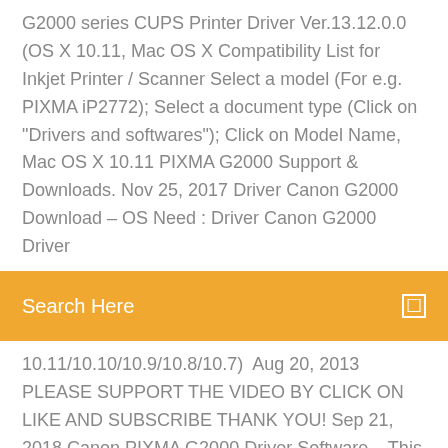G2000 series CUPS Printer Driver Ver.13.12.0.0 (OS X 10.11, Mac OS X Compatibility List for Inkjet Printer / Scanner Select a model (For e.g. PIXMA iP2772); Select a document type (Click on "Drivers and softwares"); Click on Model Name, Mac OS X 10.11 PIXMA G2000 Support & Downloads. Nov 25, 2017 Driver Canon G2000 Download – OS Need : Driver Canon G2000 Driver
Search Here
10.11/10.10/10.9/10.8/10.7) Aug 20, 2013 PLEASE SUPPORT THE VIDEO BY CLICK ON LIKE AND SUBSCRIBE THANK YOU! Sep 21, 2018 Canon PIXMA G2000 Driver Software – This is the Canon PIXMA G2000 Driver free direct link and compatible to Windows, Mac OS and Linux. Full Driver & Software Package (OS X 10.11/10.10/10.9/10.8/10.7) Download website. you can download more at here : Canon PIXMA G2000 Printer Driver. Mar 4, 2019 Canon PIXMA G2411 Driver Software Download – This is the Canon G2411 Driver free direct link and compatible to Windows, Mac OS and Linux. Canon PIXMA G2000 Driver XPS